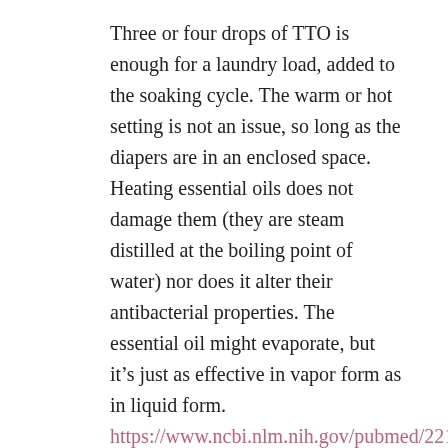Three or four drops of TTO is enough for a laundry load, added to the soaking cycle. The warm or hot setting is not an issue, so long as the diapers are in an enclosed space. Heating essential oils does not damage them (they are steam distilled at the boiling point of water) nor does it alter their antibacterial properties. The essential oil might evaporate, but it's just as effective in vapor form as in liquid form.
https://www.ncbi.nlm.nih.gov/pubmed/22133088
https://www.ncbi.nlm.nih.gov/pubmed/19292822
You are right about dissolution – essential oils